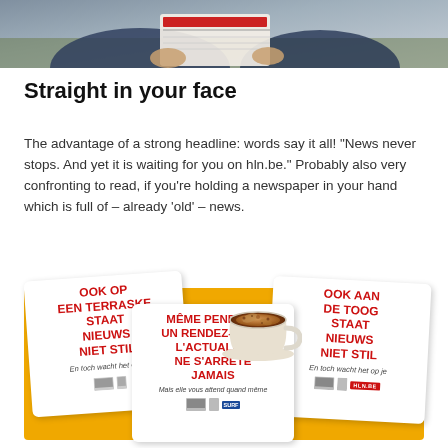[Figure (photo): Cropped top portion of person holding a newspaper, viewed from above, outdoors on grass]
Straight in your face
The advantage of a strong headline: words say it all! “News never stops. And yet it is waiting for you on hln.be.” Probably also very confronting to read, if you’re holding a newspaper in your hand which is full of – already ‘old’ – news.
[Figure (photo): Three promotional coaster/beer mat cards for HLN.BE on an orange background with a coffee cup. Left card (Dutch): OOK OP EEN TERRASKE STAAT NIEUWS NIET STIL / En toch wacht het op je. Center card (French): MÊMÉ PENDANT UN RENDEZ-VOUS L’ACTUALITÉ NE S’ARRÊTE JAMAIS / Mais elle vous attend quand même. Right card (Dutch): OOK AAN DE TOOG STAAT NIEUWS NIET STIL / En toch wacht het op je, with HLN.BE logo.]